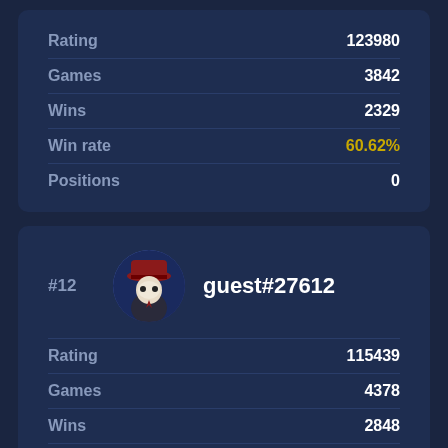| Stat | Value |
| --- | --- |
| Rating | 123980 |
| Games | 3842 |
| Wins | 2329 |
| Win rate | 60.62% |
| Positions | 0 |
[Figure (illustration): Circular avatar of a character wearing a red hat and suit, resembling a mafia-style figure with a mask]
#12   guest#27612
| Stat | Value |
| --- | --- |
| Rating | 115439 |
| Games | 4378 |
| Wins | 2848 |
| Win rate | 65.05% |
| Positions | 0 |